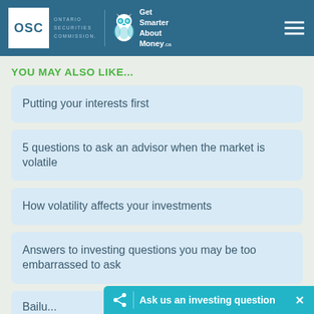OSC Ontario Securities Commission | Get Smarter About Money.ca
YOU MAY ALSO LIKE...
Putting your interests first
5 questions to ask an advisor when the market is volatile
How volatility affects your investments
Answers to investing questions you may be too embarrassed to ask
Bailin...
Ask us an investing question